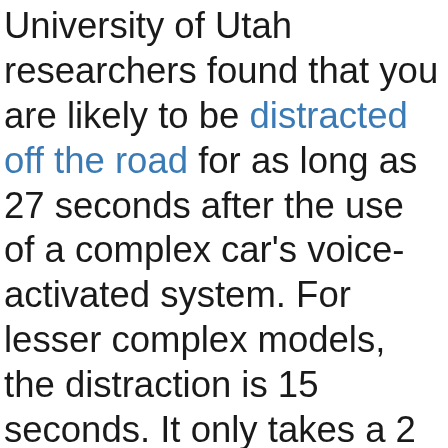University of Utah researchers found that you are likely to be distracted off the road for as long as 27 seconds after the use of a complex car's voice-activated system. For lesser complex models, the distraction is 15 seconds. It only takes a 2 seconds look away from the road to cause fatal accident; hence you can imagine the impact of these systems on modern vehicles. The distraction time is measured on the basis of time taken by the driver to refocus on the road after using the voice activated system. Scholars have a guided